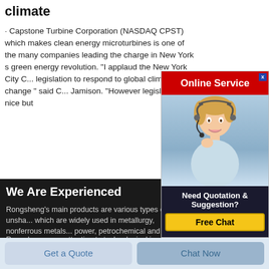climate
· Capstone Turbine Corporation (NASDAQ CPST) which makes clean energy microturbines is one of the many companies leading the charge in New York s green energy revolution. "I applaud the New York City C... legislation to respond to global climate change " said C... Jamison. "However legislation is nice but
[Figure (screenshot): Online Service advertisement with woman wearing headset. Has 'Need Quotation & Suggestion?' text and 'Free Chat' yellow button.]
We Are Experienced
Rongsheng's main products are various types of unsha... which are widely used in metallurgy, nonferrous metals... power, petrochemical and other industries.
Rongsheng pays attention to technological innovation and product research and development, and has established close cooperative relations with many universities and scientific research institutes.
Get a Quote
Chat Now